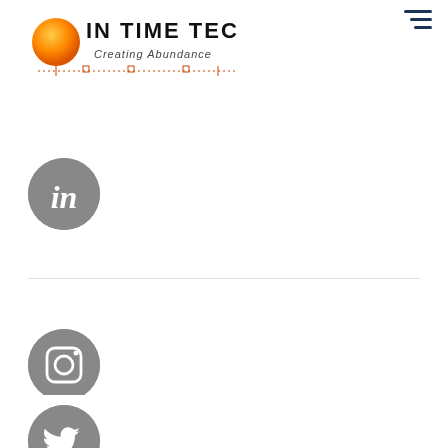[Figure (logo): In Time Tec logo with orange circle and circuit board design, text reads 'IN TIME TEC Creating Abundance']
[Figure (logo): Hamburger menu icon (three horizontal lines, navy blue)]
[Figure (illustration): LinkedIn social media icon - grey circle with white 'in' letters]
[Figure (illustration): Instagram social media icon - grey circle with white camera outline]
[Figure (illustration): Twitter social media icon - grey circle with white bird logo]